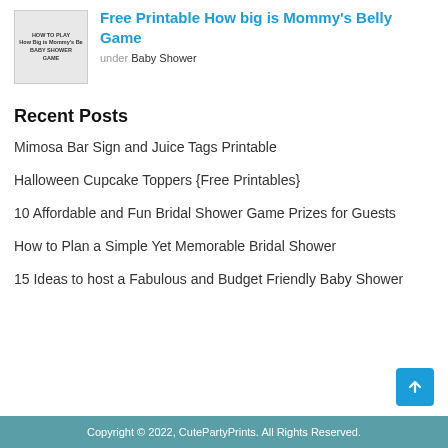[Figure (illustration): Thumbnail image of a baby shower game card with text 'HOW TO PLAY How Big is Mommy's Belly BABY SHOWER GAME']
Free Printable How big is Mommy's Belly Game
under Baby Shower
Recent Posts
Mimosa Bar Sign and Juice Tags Printable
Halloween Cupcake Toppers {Free Printables}
10 Affordable and Fun Bridal Shower Game Prizes for Guests
How to Plan a Simple Yet Memorable Bridal Shower
15 Ideas to host a Fabulous and Budget Friendly Baby Shower
Copyright © 2022, CutePartyPrints. All Rights Reserved.